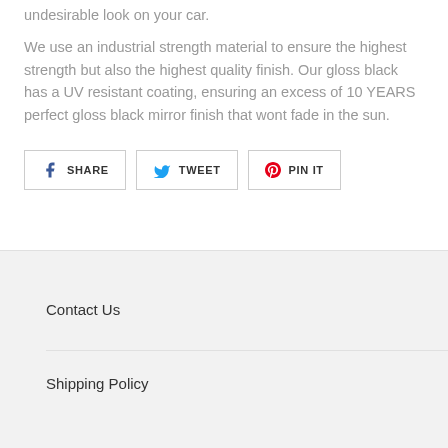undesirable look on your car.
We use an industrial strength material to ensure the highest strength but also the highest quality finish. Our gloss black has a UV resistant coating, ensuring an excess of 10 YEARS perfect gloss black mirror finish that wont fade in the sun.
SHARE
TWEET
PIN IT
Contact Us
Shipping Policy